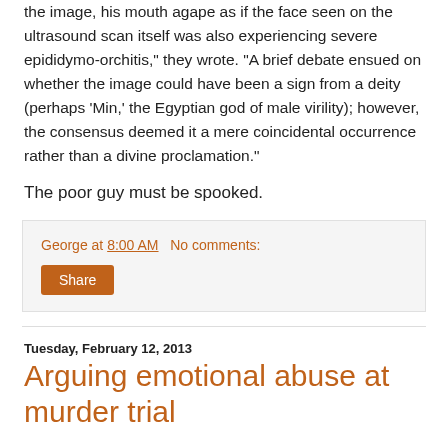the image, his mouth agape as if the face seen on the ultrasound scan itself was also experiencing severe epididymo-orchitis," they wrote. "A brief debate ensued on whether the image could have been a sign from a deity (perhaps 'Min,' the Egyptian god of male virility); however, the consensus deemed it a mere coincidental occurrence rather than a divine proclamation."
The poor guy must be spooked.
George at 8:00 AM   No comments:
Share
Tuesday, February 12, 2013
Arguing emotional abuse at murder trial
Occasionally I see a story about some wife killing her